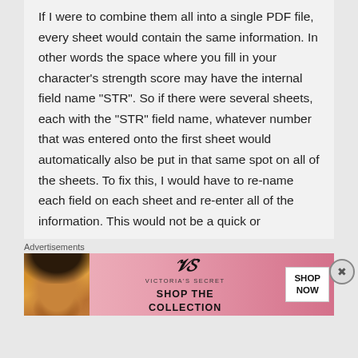If I were to combine them all into a single PDF file, every sheet would contain the same information. In other words the space where you fill in your character's strength score may have the internal field name "STR". So if there were several sheets, each with the "STR" field name, whatever number that was entered onto the first sheet would automatically also be put in that same spot on all of the sheets. To fix this, I would have to re-name each field on each sheet and re-enter all of the information. This would not be a quick or
Advertisements
[Figure (other): Victoria's Secret advertisement banner with model photo on left, VS logo and brand name in center, 'SHOP THE COLLECTION' text, and 'SHOP NOW' button on right, pink gradient background.]